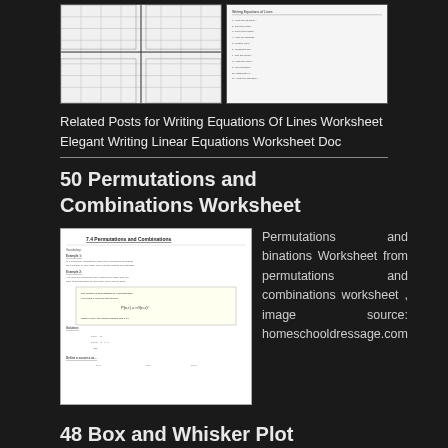[Figure (screenshot): Two worksheet images side by side - left shows a graph/grid worksheet, right shows a writing equations worksheet with text]
Related Posts for Writing Equations Of Lines Worksheet
Elegant Writing Linear Equations Worksheet Doc
[Figure (screenshot): Permutations and Combinations Worksheet page showing examples and exercises]
Permutations and binations Worksheet from permutations and combinations worksheet , image source: homeschooldressage.com
50 Permutations and Combinations Worksheet
48 Box and Whisker Plot Worksheet